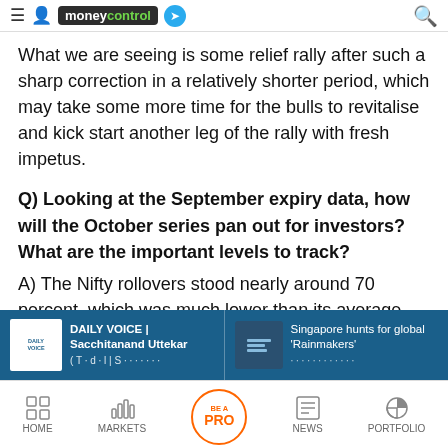moneycontrol
What we are seeing is some relief rally after such a sharp correction in a relatively shorter period, which may take some more time for the bulls to revitalise and kick start another leg of the rally with fresh impetus.
Q) Looking at the September expiry data, how will the October series pan out for investors? What are the important levels to track?
A) The Nifty rollovers stood nearly around 70 percent, which was much lower than its average
[Figure (infographic): DAILY VOICE | Sacchitanand Uttekar promotional banner in blue background]
[Figure (infographic): Singapore hunts for global 'Rainmakers' banner with icon]
HOME | MARKETS | BE A PRO | NEWS | PORTFOLIO